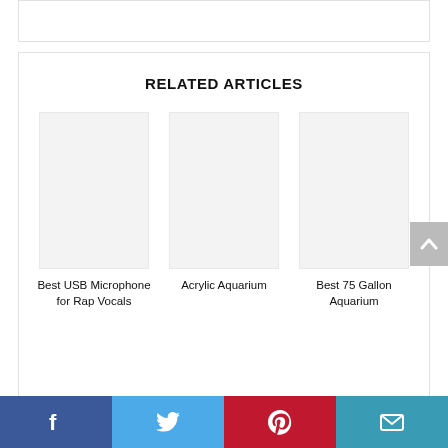RELATED ARTICLES
Best USB Microphone for Rap Vocals
Acrylic Aquarium
Best 75 Gallon Aquarium
Social share bar: Facebook, Twitter, Pinterest, Email